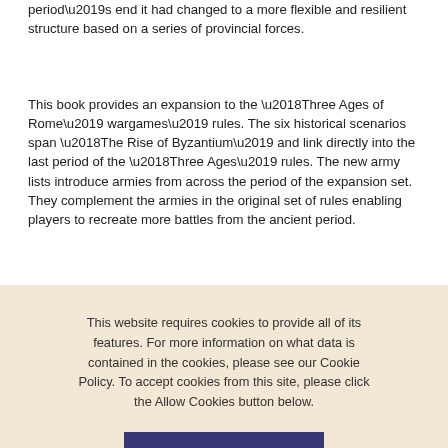period’s end it had changed to a more flexible and resilient structure based on a series of provincial forces.
This book provides an expansion to the ‘Three Ages of Rome’ wargames’ rules. The six historical scenarios span ‘The Rise of Byzantium’ and link directly into the last period of the ‘Three Ages’ rules. The new army lists introduce armies from across the period of the expansion set. They complement the armies in the original set of rules enabling players to recreate more battles from the ancient period.
As in the ‘Three Ages’, in battle nothing is certain but generals that practice their skills are more likely to be victorious.
ABOUT THE AUTHOR
This website requires cookies to provide all of its features. For more information on what data is contained in the cookies, please see our Cookie Policy. To accept cookies from this site, please click the Allow Cookies button below.
Allow Cookies